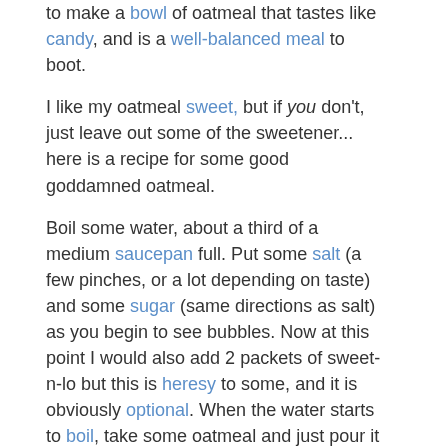to make a bowl of oatmeal that tastes like candy, and is a well-balanced meal to boot.
I like my oatmeal sweet, but if you don't, just leave out some of the sweetener... here is a recipe for some good goddamned oatmeal.
Boil some water, about a third of a medium saucepan full. Put some salt (a few pinches, or a lot depending on taste) and some sugar (same directions as salt) as you begin to see bubbles. Now at this point I would also add 2 packets of sweet-n-lo but this is heresy to some, and it is obviously optional. When the water starts to boil, take some oatmeal and just pour it in.